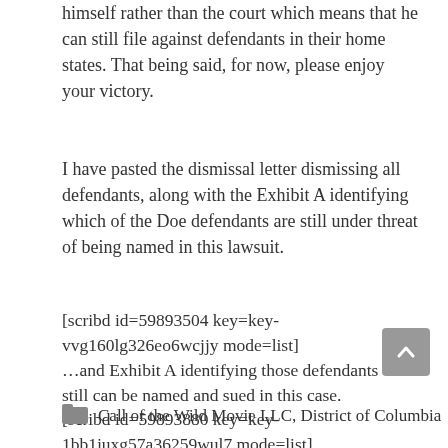himself rather than the court which means that he can still file against defendants in their home states. That being said, for now, please enjoy your victory.
I have pasted the dismissal letter dismissing all defendants, along with the Exhibit A identifying which of the Doe defendants are still under threat of being named in this lawsuit.
[scribd id=59893504 key=key-vvg160lg326eo6wcjjy mode=list]
…and Exhibit A identifying those defendants who still can be named and sued in this case.
[scribd id=59893880 key=key-1bb1juxg57a36259wul7 mode=list]
Call of the Wild Movie LLC, District of Columbia